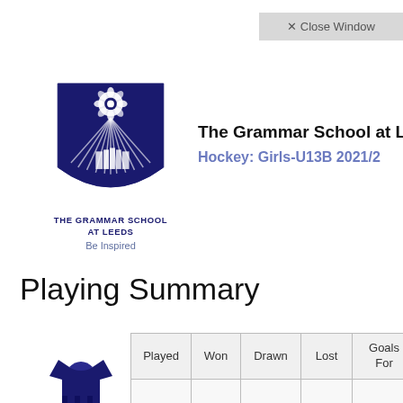✕ Close Window
[Figure (logo): The Grammar School at Leeds crest logo — navy blue shield with rose and sunburst design]
The Grammar School at Leeds
Hockey: Girls-U13B 2021/2
THE GRAMMAR SCHOOL AT LEEDS
Be Inspired
Playing Summary
[Figure (illustration): Navy blue girls hockey jersey/uniform icon]
| Played | Won | Drawn | Lost | Goals For | Goals Against |
| --- | --- | --- | --- | --- | --- |